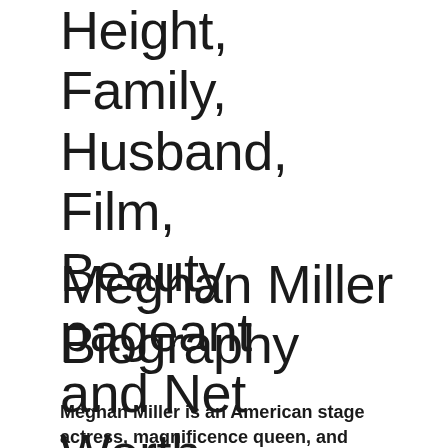Height, Family, Husband, Film, Beauty pageant and Net Worth.
February 17, 2022
Meghan Miller Biography
Meghan Miller is an American stage actress, magnificence queen, and